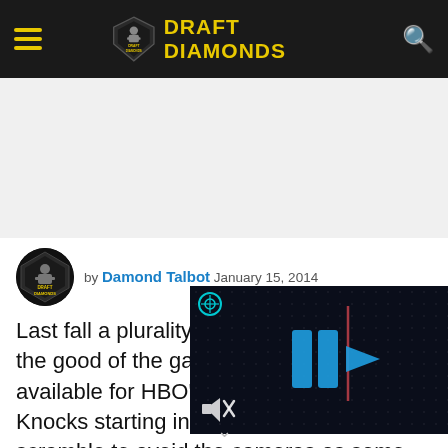DRAFT DIAMONDS
[Figure (screenshot): Video player overlay on dark background with blue play bars and forward arrow, mute icon, and circular icon]
by Damond Talbot  January 15, 2014
Last fall a plurality of the good of the game available for HBO's Knocks starting in 2014. Each year teams scramble to avoid the cameras as some coaches see the